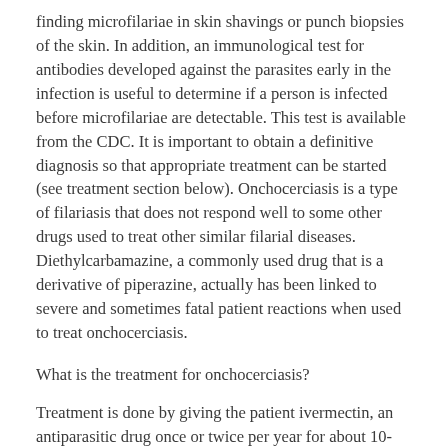finding microfilariae in skin shavings or punch biopsies of the skin. In addition, an immunological test for antibodies developed against the parasites early in the infection is useful to determine if a person is infected before microfilariae are detectable. This test is available from the CDC. It is important to obtain a definitive diagnosis so that appropriate treatment can be started (see treatment section below). Onchocerciasis is a type of filariasis that does not respond well to some other drugs used to treat other similar filarial diseases. Diethylcarbamazine, a commonly used drug that is a derivative of piperazine, actually has been linked to severe and sometimes fatal patient reactions when used to treat onchocerciasis.
What is the treatment for onchocerciasis?
Treatment is done by giving the patient ivermectin, an antiparasitic drug once or twice per year for about 10-